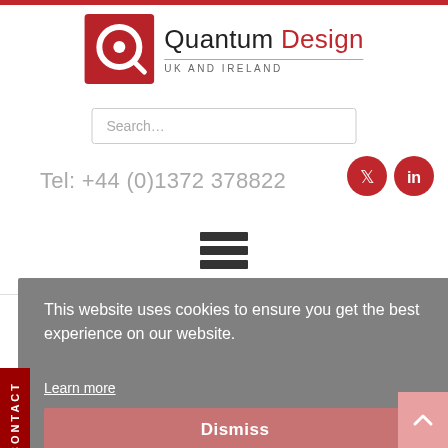[Figure (logo): Quantum Design UK and Ireland logo with red Q icon and company name]
Search…
Tel: +44 (0)1372 378822
[Figure (infographic): Hamburger menu icon with three horizontal bars]
This website uses cookies to ensure you get the best experience on our website.
Learn more
Dismiss
CONTACT